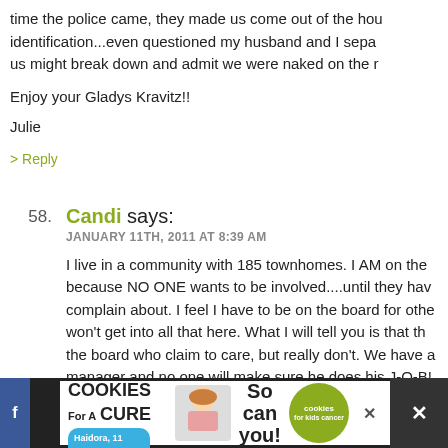time the police came, they made us come out of the house for identification...even questioned my husband and I separately (hoping us might break down and admit we were naked on the roof?)

Enjoy your Gladys Kravitz!!

Julie
> Reply
58. Candi says:
JANUARY 11TH, 2011 AT 8:39 AM

I live in a community with 185 townhomes. I AM on the board because NO ONE wants to be involved....until they have something to complain about. I feel I have to be on the board for other reasons I won't get into all that here. What I will tell you is that there are on the board who claim to care, but really don't. We have a manager and no one will make sure he does his J-O-B! Especially when you are 2 against 3 on the board. Anyway, it is county code and HOA handbook that all trash must be placed into a trash...
[Figure (infographic): Advertisement banner: 'I Bake COOKIES For A CURE' with image of girl and text 'So can you!' and a green cookies for kids cancer bubble logo, with a close X button]